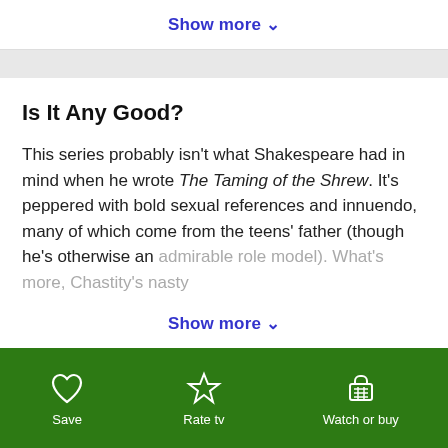Show more ∨
Is It Any Good?
This series probably isn't what Shakespeare had in mind when he wrote The Taming of the Shrew. It's peppered with bold sexual references and innuendo, many of which come from the teens' father (though he's otherwise an admirable role model). What's more, Chastity's nasty
Show more ∨
Save   Rate tv   Watch or buy